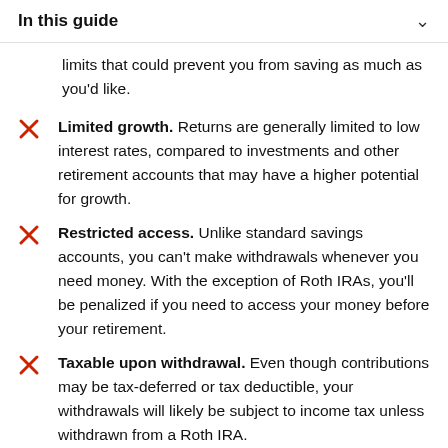In this guide
limits that could prevent you from saving as much as you'd like.
Limited growth. Returns are generally limited to low interest rates, compared to investments and other retirement accounts that may have a higher potential for growth.
Restricted access. Unlike standard savings accounts, you can't make withdrawals whenever you need money. With the exception of Roth IRAs, you'll be penalized if you need to access your money before your retirement.
Taxable upon withdrawal. Even though contributions may be tax-deferred or tax deductible, your withdrawals will likely be subject to income tax unless withdrawn from a Roth IRA.
Minimum distributions. Some accounts require you to start making withdrawals once you reach a certain age,